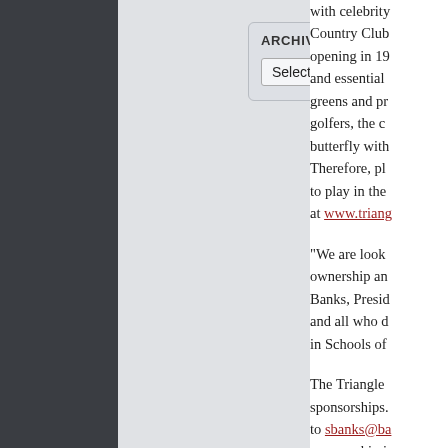[Figure (screenshot): Archives widget with 'Select Month' dropdown on a light gray background panel]
with celebrity Country Club opening in 19 and essential greens and pr golfers, the c butterfly with Therefore, pl to play in the at www.trian
“We are look ownership an Banks, Presic and all who d in Schools of
The Triangle sponsorships. to sbanks@b sponsorship i